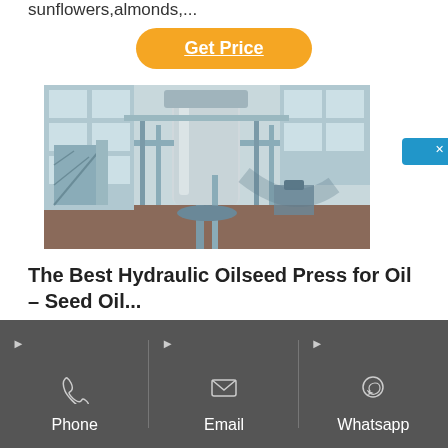sunflowers,almonds,...
Get Price
[Figure (photo): Industrial oil press facility interior showing large cylindrical processing equipment, pipes, and staircases in a factory setting]
The Best Hydraulic Oilseed Press for Oil – Seed Oil...
[Figure (other): Blue sidebar button with X close mark and Chinese characters 在线咨询 (Online Consultation)]
Phone | Email | Whatsapp